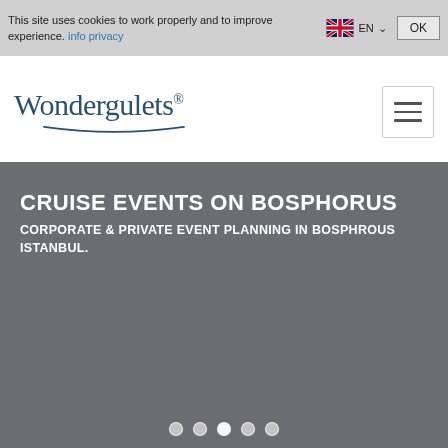This site uses cookies to work properly and to improve experience. info privacy OK
[Figure (logo): Wondergulets logo with registered trademark symbol and decorative underline arc]
[Figure (screenshot): Hamburger menu button (three horizontal lines)]
CRUISE EVENTS ON BOSPHORUS
CORPORATE & PRIVATE EVENT PLANNING IN BOSPHROUS ISTANBUL.
[Figure (illustration): 360 degree interactive view icon (circle with crosshairs/compass points)]
[Figure (illustration): Five dot carousel navigation indicators at bottom of hero section]